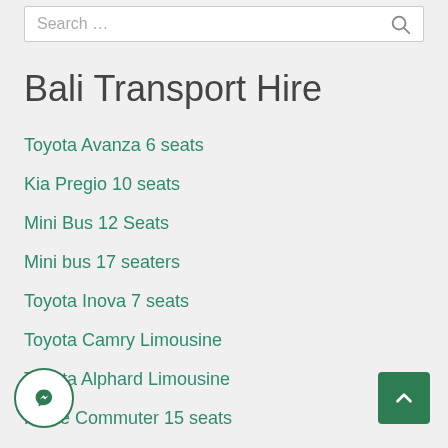Search …
Bali Transport Hire
Toyota Avanza 6 seats
Kia Pregio 10 seats
Mini Bus 12 Seats
Mini bus 17 seaters
Toyota Inova 7 seats
Toyota Camry Limousine
Toyota Alphard Limousine
Hiace Commuter 15 seats
Charter Bus 25 Seats Bali
Charter Bus 35 seats